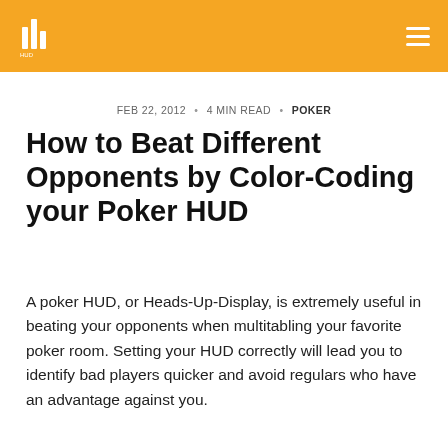[Figure (logo): Orange header bar with a white logo icon on the left and hamburger menu icon on the right]
FEB 22, 2012 • 4 MIN READ • POKER
How to Beat Different Opponents by Color-Coding your Poker HUD
A poker HUD, or Heads-Up-Display, is extremely useful in beating your opponents when multitabling your favorite poker room. Setting your HUD correctly will lead you to identify bad players quicker and avoid regulars who have an advantage against you.